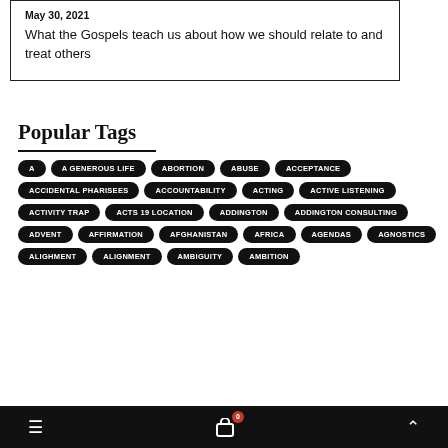May 30, 2021
What the Gospels teach us about how we should relate to and treat others
Popular Tags
A
A GENEROUS LIFE
ABORTION
ABUSE
ACCEPTANCE
ACCIDENTAL PHARISEES
ACCOUNTABILITY
ACTING
ACTIVE LISTENING
ACTIVITY TRAP
ACTS 19 LOCATION
ADDINGTON
ADDINGTON CONSULTING
ADVENT
AFFIRMATION
AFGHANISTAN
AFRICA
AGENDAS
AGNOSTICS
ALIGHMENT
ALIGNMENT
AMBIGUITY
AMBITION
≡  🛒 0  ∧